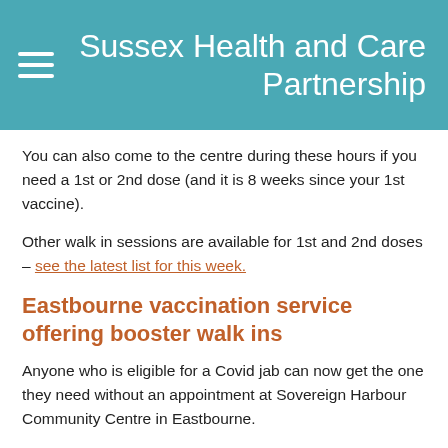Sussex Health and Care Partnership
You can also come to the centre during these hours if you need a 1st or 2nd dose (and it is 8 weeks since your 1st vaccine).
Other walk in sessions are available for 1st and 2nd doses – see the latest list for this week.
Eastbourne vaccination service offering booster walk ins
Anyone who is eligible for a Covid jab can now get the one they need without an appointment at Sovereign Harbour Community Centre in Eastbourne.
The centre, which is open from 8.30-4.30pm seven days a week, is ready to welcome people who need either their first, second or booster jab, according to the following criteria: